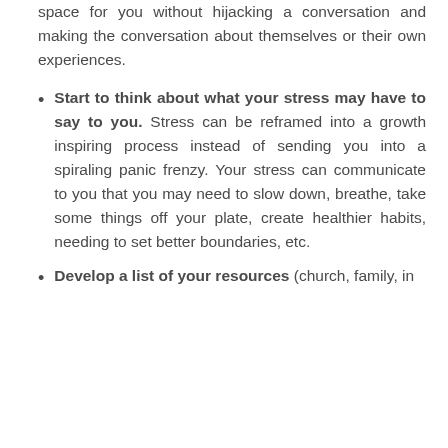space for you without hijacking a conversation and making the conversation about themselves or their own experiences.
Start to think about what your stress may have to say to you. Stress can be reframed into a growth inspiring process instead of sending you into a spiraling panic frenzy. Your stress can communicate to you that you may need to slow down, breathe, take some things off your plate, create healthier habits, needing to set better boundaries, etc.
Develop a list of your resources (church, family, in...